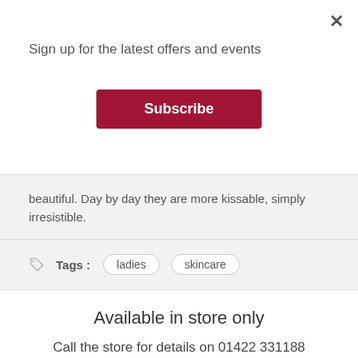Sign up for the latest offers and events
Subscribe
beautiful. Day by day they are more kissable, simply irresistible.
Tags : ladies skincare
Available in store only
Call the store for details on 01422 331188
[Figure (infographic): Social media icons: Facebook, Twitter, Google+, Pinterest]